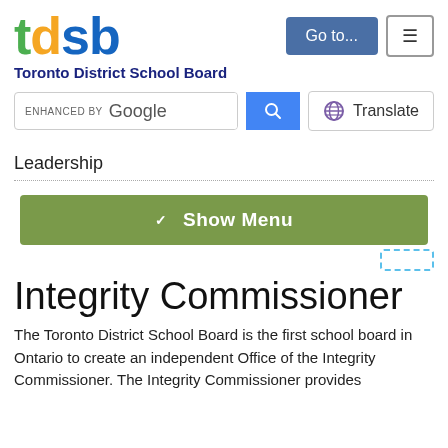[Figure (logo): TDSB logo with coloured letters t (green), d (orange), s (blue), b (blue) and subtitle Toronto District School Board in navy]
[Figure (screenshot): Go to... button (blue) and hamburger menu button (outlined)]
[Figure (screenshot): Search bar enhanced by Google with blue search button and Translate button with globe icon]
Leadership
[Figure (screenshot): Show Menu green button with chevron icon]
Integrity Commissioner
The Toronto District School Board is the first school board in Ontario to create an independent Office of the Integrity Commissioner. The Integrity Commissioner provides